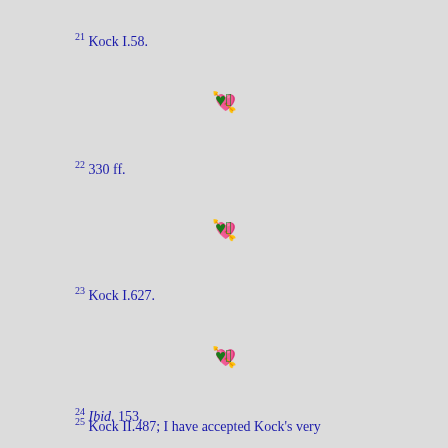21 Kock I.58.
22 330 ff.
23 Kock I.627.
24 Ibid. 153.
25 Kock II.487; I have accepted Kock's very